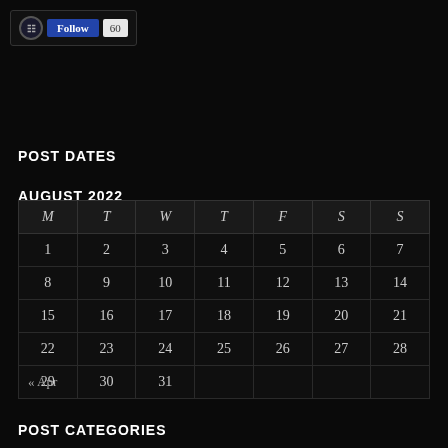[Figure (screenshot): WordPress Follow button widget with follow count of 60]
POST DATES
AUGUST 2022
| M | T | W | T | F | S | S |
| --- | --- | --- | --- | --- | --- | --- |
| 1 | 2 | 3 | 4 | 5 | 6 | 7 |
| 8 | 9 | 10 | 11 | 12 | 13 | 14 |
| 15 | 16 | 17 | 18 | 19 | 20 | 21 |
| 22 | 23 | 24 | 25 | 26 | 27 | 28 |
| 29 | 30 | 31 |  |  |  |  |
« Apr
POST CATEGORIES